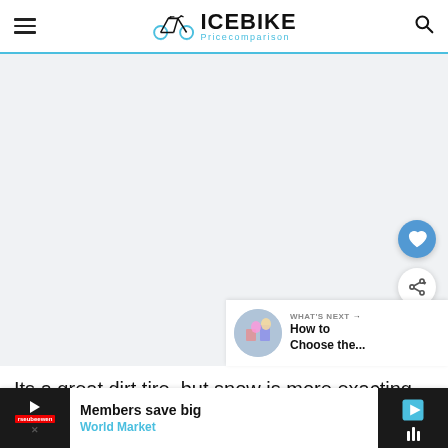ICEBIKE Pricecomparison
[Figure (screenshot): Light gray placeholder content area representing an image or video embedded in article page, with a blue circular heart/like button and a white circular share button on the right side, and a 'WHAT'S NEXT' panel in the bottom right showing a thumbnail and text 'How to Choose the...']
Its a great dirt tire, but snow is more exacting.
[Figure (screenshot): Advertisement bar at the bottom: dark left section with play button and red advertiser label, center section with text 'Members save big' and 'World Market' in blue, and dark right section with navigation arrow icon and sound wave icon. Partially overlapping dark bars on left and right with article text visible between.]